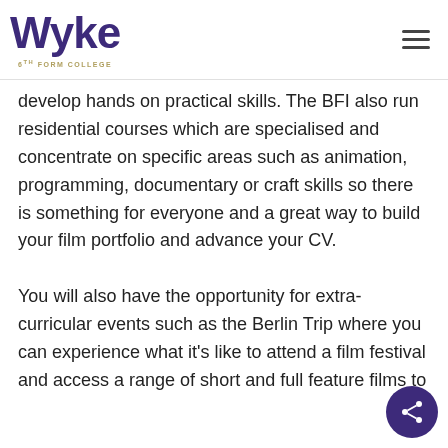Wyke 6th Form College
develop hands on practical skills. The BFI also run residential courses which are specialised and concentrate on specific areas such as animation, programming, documentary or craft skills so there is something for everyone and a great way to build your film portfolio and advance your CV.

You will also have the opportunity for extra-curricular events such as the Berlin Trip where you can experience what it's like to attend a film festival and access a range of short and full feature films to